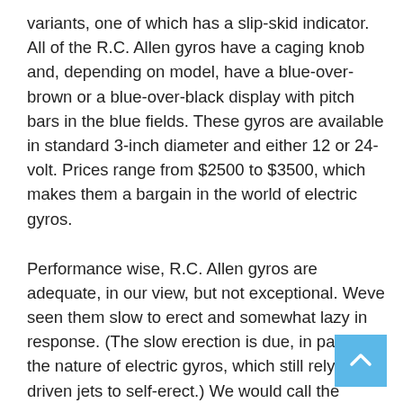variants, one of which has a slip-skid indicator. All of the R.C. Allen gyros have a caging knob and, depending on model, have a blue-over-brown or a blue-over-black display with pitch bars in the blue fields. These gyros are available in standard 3-inch diameter and either 12 or 24-volt. Prices range from $2500 to $3500, which makes them a bargain in the world of electric gyros.
Performance wise, R.C. Allen gyros are adequate, in our view, but not exceptional. Weve seen them slow to erect and somewhat lazy in response. (The slow erection is due, in part, to the nature of electric gyros, which still rely on air-driven jets to self-erect.) We would call the service history of these gyros somewhat mixed. Weve heard from owners complaining of lower long-term durability than they expected.
Pros: Affordable electric gyro that solves single-point failure